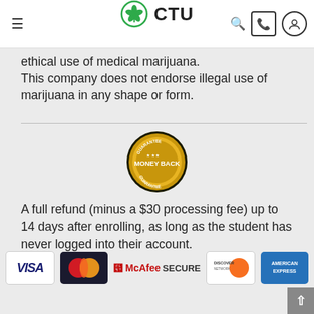CTU - Cannabis Training University
ethical use of medical marijuana. This company does not endorse illegal use of marijuana in any shape or form.
[Figure (illustration): Money Back Guarantee badge - gold and dark circular badge with text MONEY BACK in center]
A full refund (minus a $30 processing fee) up to 14 days after enrolling, as long as the student has never logged into their account.
[Figure (logo): Payment method logos: Visa, MasterCard, McAfee SECURE, Discover, American Express]